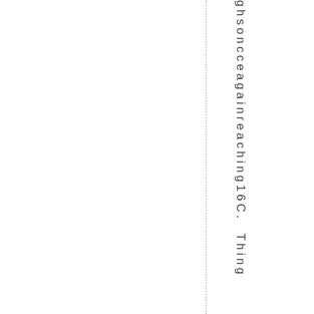ghsoncceagainreaching16C. Thing